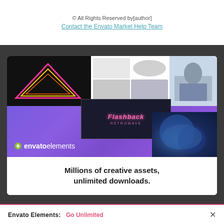© All Rights Reserved by[author]
Contact the Envato Market Help Team
[Figure (illustration): Envato Elements promotional banner showing a collage of creative assets including neon triangle art, product photography, and a person working at a computer, with the Envato Elements logo and text 'Millions of creative assets, unlimited downloads.']
Millions of creative assets, unlimited downloads.
Envato Elements: Go Unlimited ×